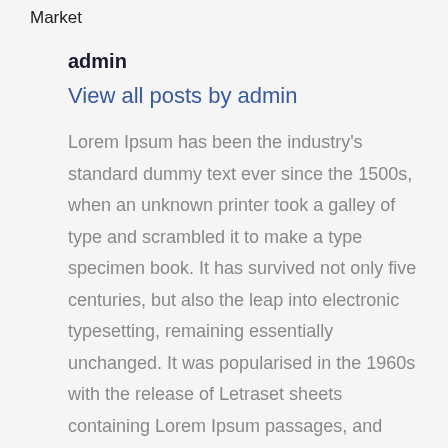Market
admin
View all posts by admin
Lorem Ipsum has been the industry's standard dummy text ever since the 1500s, when an unknown printer took a galley of type and scrambled it to make a type specimen book. It has survived not only five centuries, but also the leap into electronic typesetting, remaining essentially unchanged. It was popularised in the 1960s with the release of Letraset sheets containing Lorem Ipsum passages, and more recently with desktop publishing software like Aldus PageMaker including versions of Lorem Ipsum.